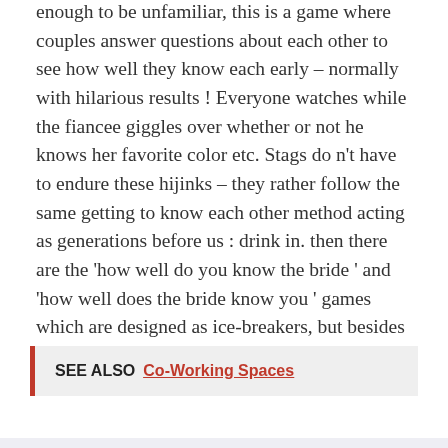enough to be unfamiliar, this is a game where couples answer questions about each other to see how well they know each early – normally with hilarious results ! Everyone watches while the fiancee giggles over whether or not he knows her favorite color etc. Stags do n't have to endure these hijinks – they rather follow the same getting to know each other method acting as generations before us : drink in. then there are the 'how well do you know the bride ' and 'how well does the bride know you ' games which are designed as ice-breakers, but besides work as a wonderfully easy way of inducing insufficiency and alienation.
SEE ALSO  Co-Working Spaces
Read more: 5 [garbled text]